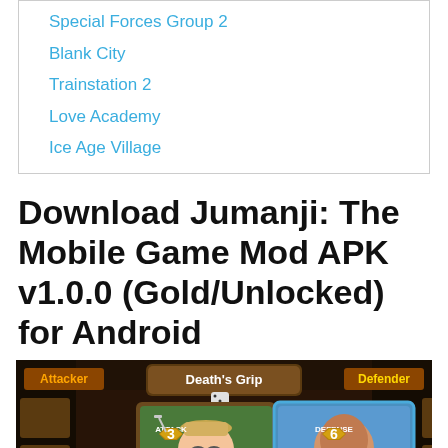Special Forces Group 2
Blank City
Trainstation 2
Love Academy
Ice Age Village
Download Jumanji: The Mobile Game Mod APK v1.0.0 (Gold/Unlocked) for Android
[Figure (screenshot): Game screenshot showing Jumanji: The Mobile Game battle screen with 'Death's Grip' title, an Attacker character (Lv 2, Attack 3) and a Defender character (Lv 2, Defense 6) on a dark jungle background.]